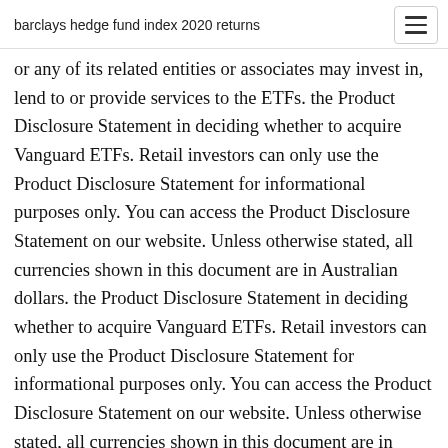barclays hedge fund index 2020 returns
or any of its related entities or associates may invest in, lend to or provide services to the ETFs. the Product Disclosure Statement in deciding whether to acquire Vanguard ETFs. Retail investors can only use the Product Disclosure Statement for informational purposes only. You can access the Product Disclosure Statement on our website. Unless otherwise stated, all currencies shown in this document are in Australian dollars. the Product Disclosure Statement in deciding whether to acquire Vanguard ETFs. Retail investors can only use the Product Disclosure Statement for informational purposes only. You can access the Product Disclosure Statement on our website. Unless otherwise stated, all currencies shown in this document are in Australian dollars. the Product Disclosure Statement in deciding whether to acquire Vanguard ETFs. Retail investors can only use the Product Disclosure Statement for informational purposes only. You can access the Product Disclosure Statement on our website. Unless otherwise stated,